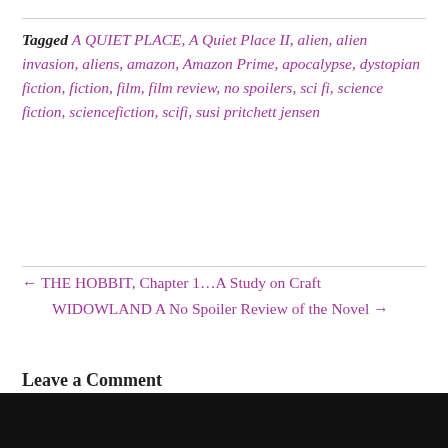Tagged A QUIET PLACE, A Quiet Place II, alien, alien invasion, aliens, amazon, Amazon Prime, apocalypse, dystopian fiction, fiction, film, film review, no spoilers, sci fi, science fiction, sciencefiction, scifi, susi pritchett jensen
← THE HOBBIT, Chapter 1…A Study on Craft
WIDOWLAND A No Spoiler Review of the Novel →
Leave a Comment
You must be logged in to post a comment.